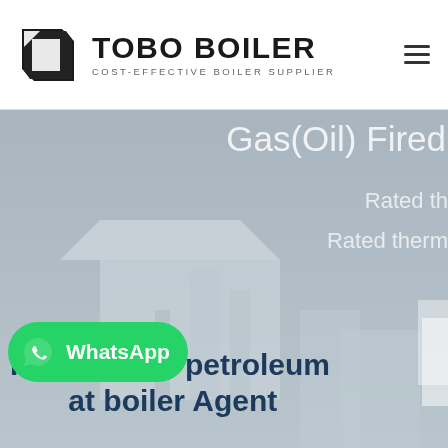[Figure (logo): Tobo Boiler logo with stylized black square icon and bold text 'TOBO BOILER' with subtitle 'COST-EFFECTIVE BOILER SUPPLIER']
[Figure (photo): Hero banner showing industrial boiler equipment in a warehouse/facility, with text overlays: 'Gas(Oil) Fired', 'Rated th...', 'Rated therm...' partially visible, and at the bottom 'Formula for petroleum' and 'at boiler Agent'. A WhatsApp chat button overlay is present in the lower-left.]